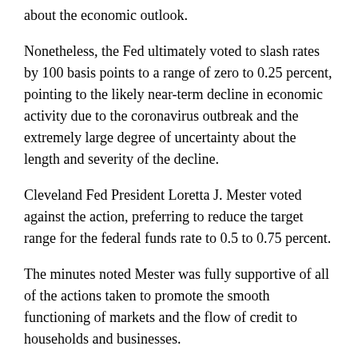about the economic outlook.
Nonetheless, the Fed ultimately voted to slash rates by 100 basis points to a range of zero to 0.25 percent, pointing to the likely near-term decline in economic activity due to the coronavirus outbreak and the extremely large degree of uncertainty about the length and severity of the decline.
Cleveland Fed President Loretta J. Mester voted against the action, preferring to reduce the target range for the federal funds rate to 0.5 to 0.75 percent.
The minutes noted Mester was fully supportive of all of the actions taken to promote the smooth functioning of markets and the flow of credit to households and businesses.
With regard to the economic outlook, meeting participants raised several alternative scenarios with regard to the likely path of…